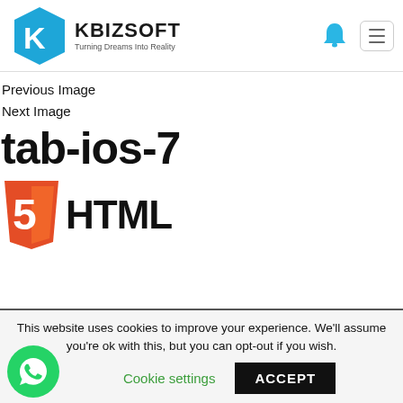[Figure (logo): Kbizsoft logo with hexagon K icon and text 'KBIZSOFT Turning Dreams Into Reality']
Previous Image
Next Image
tab-ios-7
[Figure (logo): HTML5 logo — orange shield with number 5 and bold text HTML]
This website uses cookies to improve your experience. We'll assume you're ok with this, but you can opt-out if you wish.
Cookie settings   ACCEPT